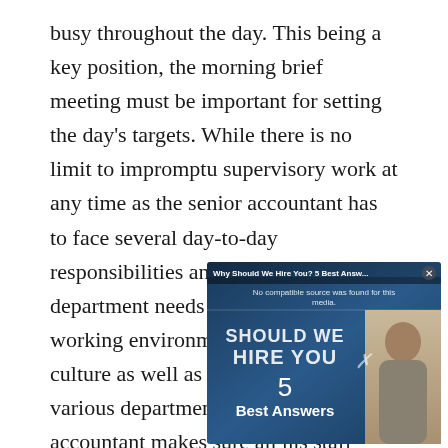busy throughout the day. This being a key position, the morning brief meeting must be important for setting the day's targets. While there is no limit to impromptu supervisory work at any time as the senior accountant has to face several day-to-day responsibilities and issues. As the department needs to have a good working environment, company culture as well as coordination between various departments, the senior accountant makes sure all his staff handle the inquiries professionally while maintaining good working speed.
[Figure (screenshot): Video advertisement overlay showing 'Why Should We Hire You? 5 Best Answers' with text 'No compatible source was found for this media.' and large bold text 'SHOULD WE HIRE YOU?' with '5 Best Answers' on a dark blue background, with a photo of an older person on the right side.]